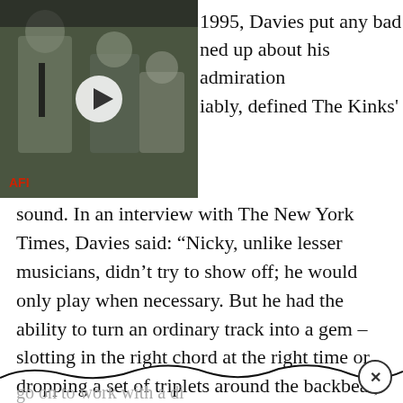[Figure (screenshot): Video thumbnail of a black-and-white film scene with people, showing a play button overlay and 'AFI' label in red at bottom left.]
1995, Davies put any bad …ned up about his admiration …iably, defined The Kinks' sound. In an interview with The New York Times, Davies said: “Nicky, unlike lesser musicians, didn’t try to show off; he would only play when necessary. But he had the ability to turn an ordinary track into a gem – slotting in the right chord at the right time or dropping a set of triplets around the backbeat, just enough to make you want to dance. On a ballad, he could sense which notes to wrap around the song without being obtrusive. He managed to give ‘Days,’ for instance, a mysterious religious quality without being sentimental or pious.”
…go on to work with a di…